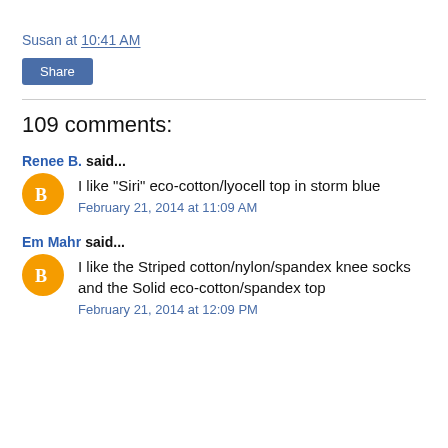Susan at 10:41 AM
Share
109 comments:
Renee B. said...
I like "Siri" eco-cotton/lyocell top in storm blue
February 21, 2014 at 11:09 AM
Em Mahr said...
I like the Striped cotton/nylon/spandex knee socks and the Solid eco-cotton/spandex top
February 21, 2014 at 12:09 PM